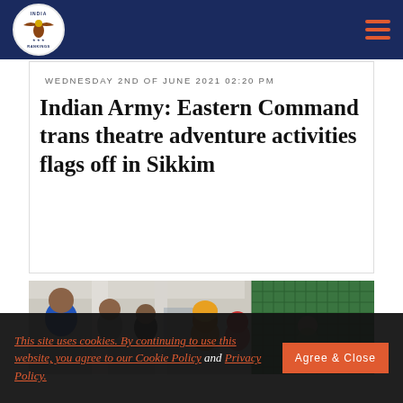India Rankings – navigation header with logo and menu
WEDNESDAY 2ND OF JUNE 2021 02:20 PM
Indian Army: Eastern Command trans theatre adventure activities flags off in Sikkim
[Figure (photo): People gathered indoors, serving or receiving food, with a green mesh fence/wall visible on the right side of the image.]
This site uses cookies. By continuing to use this website, you agree to our Cookie Policy and Privacy Policy.